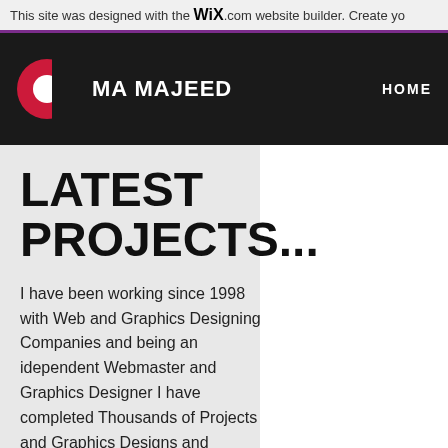This site was designed with the WIX.com website builder. Create yo
[Figure (logo): MA MAJEED website logo — red C-shaped circle with white inner circle, beside white text MA MAJEED on dark background, with HOME navigation link]
LATEST PROJECTS...
I have been working since 1998 with Web and Graphics Designing Companies and being an idependent Webmaster and Graphics Designer I have completed Thousands of Projects and Graphics Designs and delivered excellent services to clients and customers to their utmost satisfaction and needs...